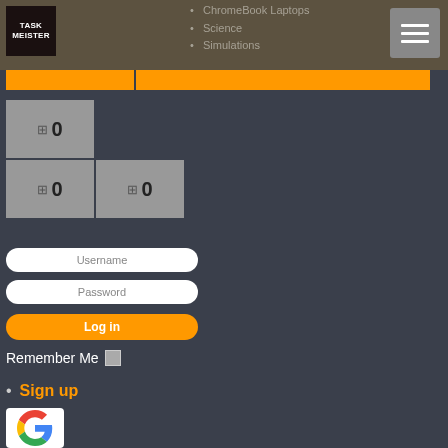[Figure (screenshot): TaskMeister app logo - black square with white text TASK MEISTER]
ChromeBook Laptops
Science
Simulations
[Figure (screenshot): Hamburger menu button - grey square with three white horizontal lines]
[Figure (screenshot): Orange navigation tabs bar - two orange rectangular tabs side by side]
[Figure (screenshot): Three grey stat tiles each showing an icon and 0: one tile on top row, two tiles on bottom row]
[Figure (screenshot): Username input field - white rounded rectangle with placeholder text Username]
[Figure (screenshot): Password input field - white rounded rectangle with placeholder text Password]
[Figure (screenshot): Log in button - orange rounded rectangle with white text Log in]
Remember Me
Sign up
[Figure (logo): Google G logo on white square background]